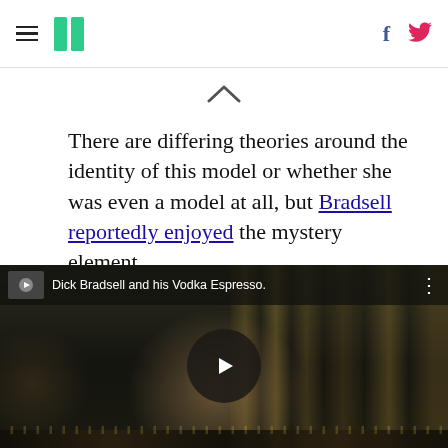HuffPost navigation with hamburger menu, logo, Facebook and Twitter icons
There are differing theories around the identity of this model or whether she was even a model at all, but Bradsell reportedly enjoyed the mystery element.
[Figure (screenshot): Embedded YouTube video thumbnail showing Dick Bradsell behind a bar, with title 'Dick Bradsell and his Vodka Espresso.' and a play button overlay]